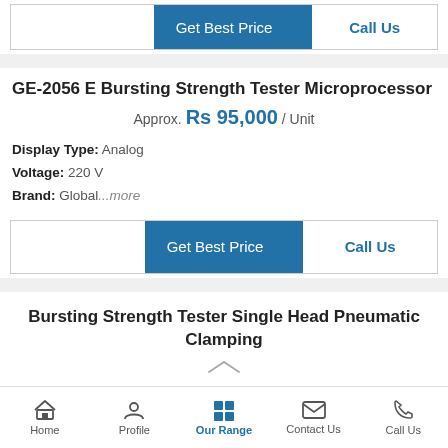[Figure (screenshot): Get Best Price and Call Us button bar at top]
GE-2056 E Bursting Strength Tester Microprocessor
Approx. Rs 95,000 / Unit
Display Type: Analog
Voltage: 220 V
Brand: Global...more
[Figure (screenshot): Get Best Price and Call Us button bar at bottom]
Bursting Strength Tester Single Head Pneumatic Clamping
Home | Profile | Our Range | Contact Us | Call Us